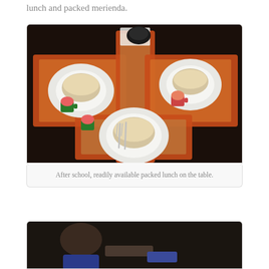lunch and packed merienda.
[Figure (photo): A dining table set with three place settings, each with an orange woven placemat, a white plate with a bowl on top, and a small character mug. A fork and knife are visible on the center place setting.]
After school, readily available packed lunch on the table.
[Figure (photo): Partial view of a second photo at the bottom of the page, showing what appears to be a person, partially cropped.]